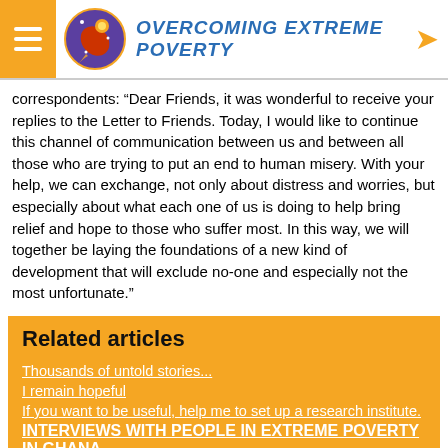OVERCOMING EXTREME POVERTY
correspondents: “Dear Friends, it was wonderful to receive your replies to the Letter to Friends. Today, I would like to continue this channel of communication between us and between all those who are trying to put an end to human misery. With your help, we can exchange, not only about distress and worries, but especially about what each one of us is doing to help bring relief and hope to those who suffer most. In this way, we will together be laying the foundations of a new kind of development that will exclude no-one and especially not the most unfortunate.”
Related articles
Thousands of untold stories...
I remain hopeful
If you want to be useful, help me to set up a research institute.
INTERVIEWS WITH PEOPLE IN EXTREME POVERTY IN GHANA
Poverty eradication projects ill-adapted to people’s needs
Art Made from Waste